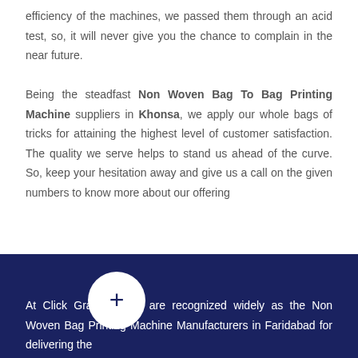efficiency of the machines, we passed them through an acid test, so, it will never give you the chance to complain in the near future.

Being the steadfast Non Woven Bag To Bag Printing Machine suppliers in Khonsa, we apply our whole bags of tricks for attaining the highest level of customer satisfaction. The quality we serve helps to stand us ahead of the curve. So, keep your hesitation away and give us a call on the given numbers to know more about our offering
[Figure (other): White circle with a dark blue plus (+) sign, overlapping the boundary between the white and dark blue sections]
At Click Graphics, we are recognized widely as the Non Woven Bag Printing Machine Manufacturers in Faridabad for delivering the